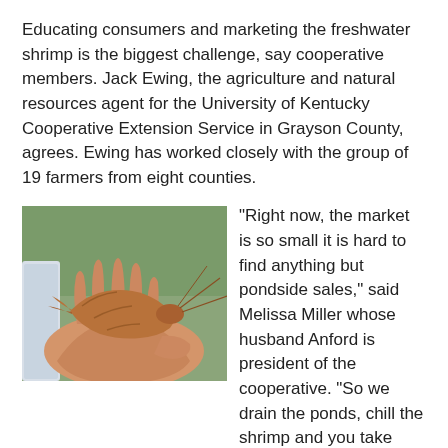Educating consumers and marketing the freshwater shrimp is the biggest challenge, say cooperative members. Jack Ewing, the agriculture and natural resources agent for the University of Kentucky Cooperative Extension Service in Grayson County, agrees. Ewing has worked closely with the group of 19 farmers from eight counties.
[Figure (photo): A person holding a freshwater shrimp in their palm, with a green background and a white container visible.]
"Right now, the market is so small it is hard to find anything but pondside sales," said Melissa Miller whose husband Anford is president of the cooperative. "So we drain the ponds, chill the shrimp and you take them home. They are that fresh. One restaurant told us our product was too good for their restaurant, they needed to be smaller."
Miller said she and her husband got into shrimp farming as